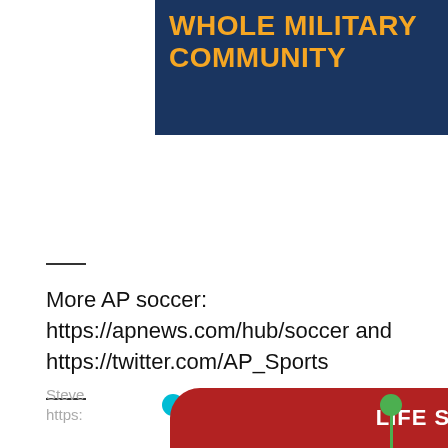[Figure (illustration): Dark navy blue advertisement banner with bold orange uppercase text reading 'WHOLE MILITARY COMMUNITY']
More AP soccer: https://apnews.com/hub/soccer and https://twitter.com/AP_Sports
[Figure (illustration): Red pill-shaped advertisement banner with white bold uppercase text 'LIFE SCIENCES LEADERS', with teal and green decorative dots and stems on either side]